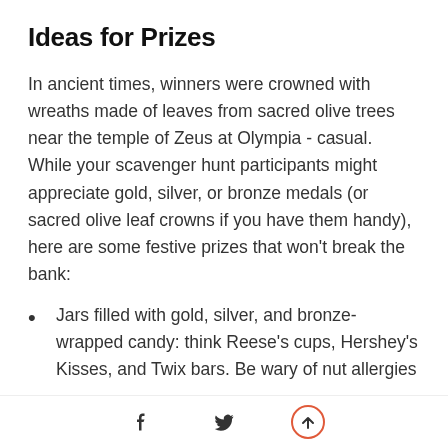Ideas for Prizes
In ancient times, winners were crowned with wreaths made of leaves from sacred olive trees near the temple of Zeus at Olympia - casual. While your scavenger hunt participants might appreciate gold, silver, or bronze medals (or sacred olive leaf crowns if you have them handy), here are some festive prizes that won't break the bank:
Jars filled with gold, silver, and bronze-wrapped candy: think Reese's cups, Hershey's Kisses, and Twix bars. Be wary of nut allergies
Gift cards to a favorite sushi spot in celebration of the Tokyo…
Facebook share, Twitter share, Scroll to top